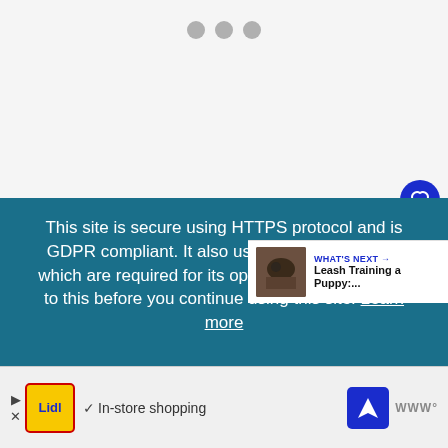[Figure (screenshot): White/light gray area with three small gray dots indicating a loading or pagination indicator]
This site is secure using HTTPS protocol and is GDPR compliant. It also uses cookies, some of which are required for its operation. Please agree to this before you continue using this site. Learn more
[Figure (screenshot): WHAT'S NEXT arrow label with thumbnail image and text: Leash Training a Puppy:...]
[Figure (screenshot): Advertisement banner: Lidl logo, checkmark, In-store shopping text, navigation icon, Waze logo]